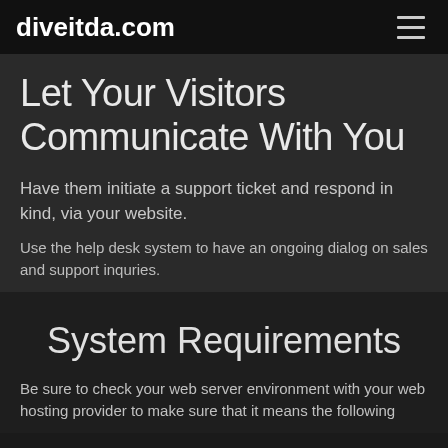diveitda.com
Let Your Visitors Communicate With You
Have them initiate a support ticket and respond in kind, via your website.
Use the help desk system to have an ongoing dialog on sales and support inquries.
System Requirements
Be sure to check your web server environment with your web hosting provider to make sure that it means the following